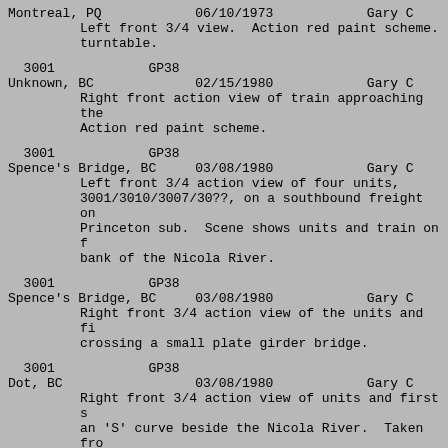Montreal, PQ   06/10/1973   Gary C
Left front 3/4 view.  Action red paint scheme.
turntable.
3001   GP38
Unknown, BC   02/15/1980   Gary C
Right front action view of train approaching the
Action red paint scheme.
3001   GP38
Spence's Bridge, BC   03/08/1980   Gary C
Left front 3/4 action view of four units,
3001/3010/3007/30??, on a southbound freight on
Princeton sub.  Scene shows units and train on f
bank of the Nicola River.
3001   GP38
Spence's Bridge, BC   03/08/1980   Gary C
Right front 3/4 action view of the units and fi
crossing a small plate girder bridge.
3001   GP38
Dot, BC   03/08/1980   Gary C
Right front 3/4 action view of units and first s
an 'S' curve beside the Nicola River.  Taken fro
looking down on the train.  Vertical format.
3001   GP38
Coyle, BC   03/08/1980   Gary C
Left front 3/4 action view of units and first s